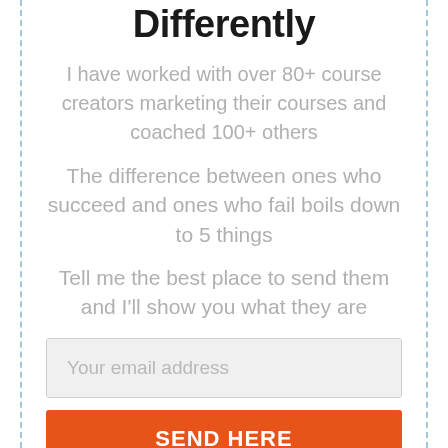Differently
I have worked with over 80+ course creators marketing their courses and coached 100+ others
The difference between ones who succeed and ones who fail boils down to 5 things
Tell me the best place to send them and I'll show you what they are
Your email address
SEND HERE